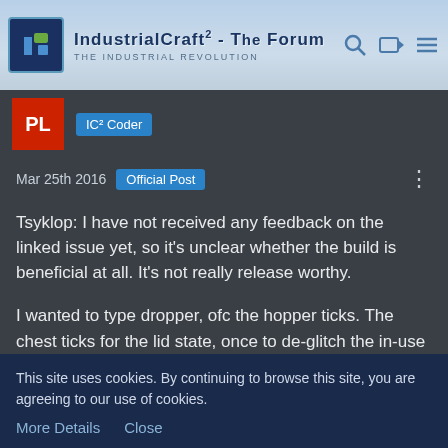IndustrialCraft² - The Forum · The Industrial Revolution
[Figure (logo): IndustrialCraft² forum logo with IC icon]
IC² Coder
Mar 25th 2016  Official Post
Tsyklop: I have not received any feedback on the linked issue yet, so it's unclear whether the build is beneficial at all. It's not really release worthy.

I wanted to type dropper, ofc the hopper ticks. The chest ticks for the lid state, once to de-glitch the in-use state and once to step through the opening angles.
This site uses cookies. By continuing to browse this site, you are agreeing to our use of cookies.
More Details   Close